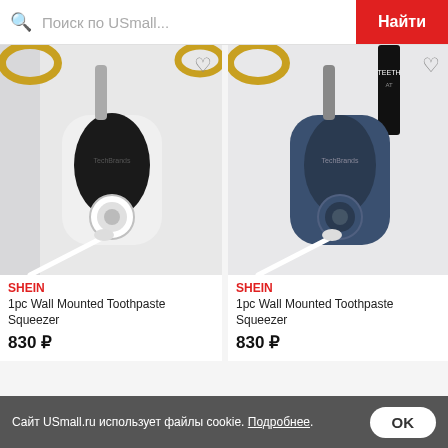Поиск по USmall...  Найти
[Figure (photo): Black wall-mounted toothpaste squeezer dispenser with toothbrush, mounted on white wall]
[Figure (photo): Dark blue wall-mounted toothpaste squeezer dispenser with toothbrush, mounted on white wall]
SHEIN
1pc Wall Mounted Toothpaste Squeezer
830 ₽
SHEIN
1pc Wall Mounted Toothpaste Squeezer
830 ₽
Сайт USmall.ru использует файлы cookie. Подробнее.  OK